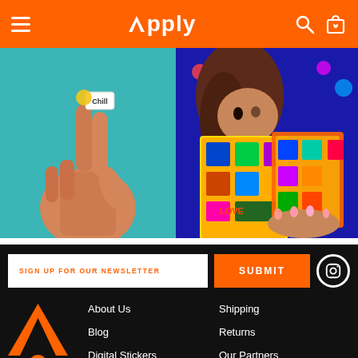Apply — navigation header with logo, hamburger menu, search and bag icons
[Figure (photo): A hand holding up a small white sticker that reads 'Chill', peace sign fingers, teal/turquoise background]
[Figure (photo): A person with curly hair holding up colorful sticker sheets with 'LOVE' text, bright rainbow colors, dark blue background]
SIGN UP FOR OUR NEWSLETTER
SUBMIT
[Figure (logo): Apply brand logo mark — orange triangle/A shape with circle]
About Us
Blog
Digital Stickers
In the News
Wholesale
Custom
Shipping
Returns
Our Partners
Careers
Affiliates